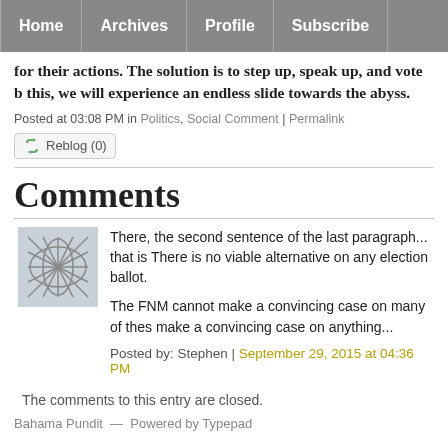Home | Archives | Profile | Subscribe
for their actions. The solution is to step up, speak up, and vote b this, we will experience an endless slide towards the abyss.
Posted at 03:08 PM in Politics, Social Comment | Permalink
Reblog (0)
Comments
There, the second sentence of the last paragraph... that is There is no viable alternative on any election ballot.
The FNM cannot make a convincing case on many of thes make a convincing case on anything...
Posted by: Stephen | September 29, 2015 at 04:36 PM
The comments to this entry are closed.
Bahama Pundit — Powered by Typepad